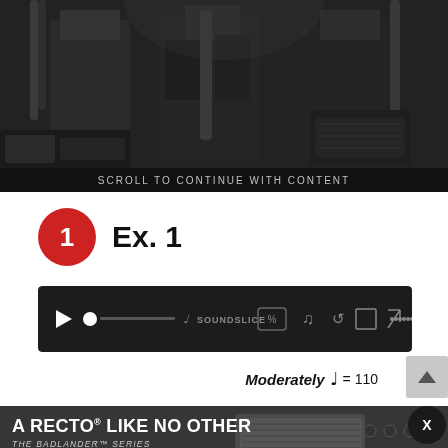[Figure (photo): Dark photo of musicians/guitarists with tattoos holding guitars, stage/backstage setting]
SCROLL TO CONTINUE WITH CONTENT
1  Ex. 1
[Figure (screenshot): Soundslice audio player bar with play button, progress indicator, and controls]
Moderately ♩= 110
[Figure (photo): Mesa/Boogie advertisement: A RECTO® LIKE NO OTHER - THE BADLANDER™ SERIES, Learn More button, Mesa/Boogie logo, guitar amp photo]